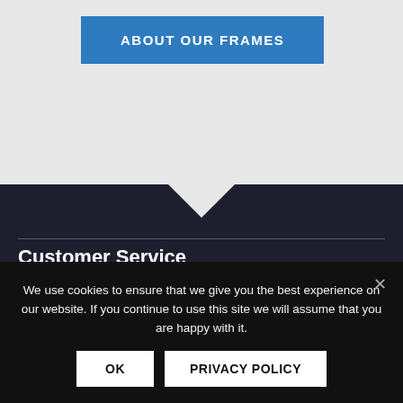ABOUT OUR FRAMES
Customer Service
Contact Us
My Account
Wishlist
We use cookies to ensure that we give you the best experience on our website. If you continue to use this site we will assume that you are happy with it.
OK
PRIVACY POLICY